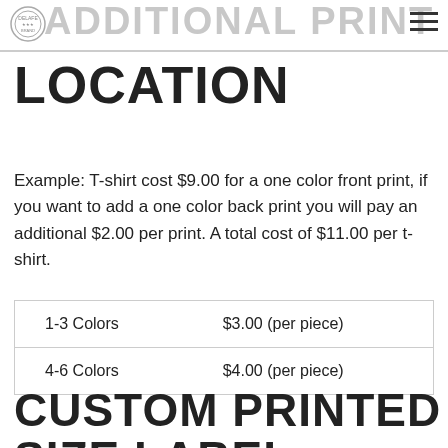ADDITIONAL PRINT
LOCATION
Example: T-shirt cost $9.00 for a one color front print, if you want to add a one color back print you will pay an additional $2.00 per print. A total cost of $11.00 per t-shirt.
| 1-3 Colors | $3.00 (per piece) |
| 4-6 Colors | $4.00 (per piece) |
CUSTOM PRINTED SIZE LABEL